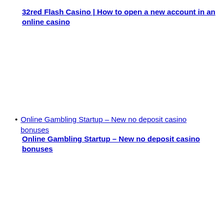32red Flash Casino | How to open a new account in an online casino
Online Gambling Startup – New no deposit casino bonuses
Online Gambling Startup – New no deposit casino bonuses